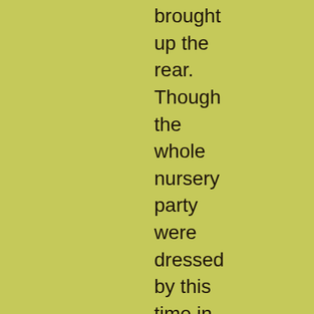brought up the rear. Though the whole nursery party were dressed by this time in lighter mourning than at first, there was enough